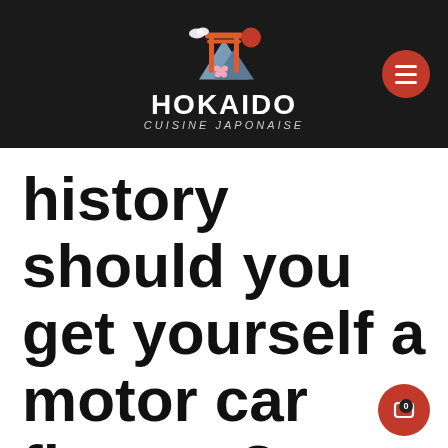[Figure (logo): Hokaido Cuisine Japonaise logo with torii gate, mountains, sakura flower, and red sun illustration on dark background]
history should you get yourself a motor car finance?